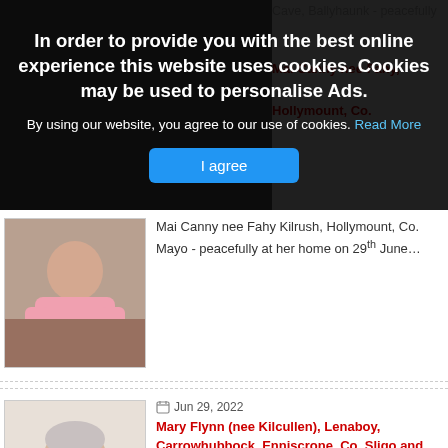[Figure (screenshot): Cookie consent overlay on a website showing obituaries. Dark semi-transparent banner at top with bold white text about cookies, 'Read More' link, and blue 'I agree' button. Below are two obituary entries each with a portrait photo on the left and text on the right.]
In order to provide you with the best online experience this website uses cookies. Cookies may be used to personalise Ads.
By using our website, you agree to our use of cookies. Read More
I agree
Mai Canny nee Fahy Kilrush, Hollymount, Co. Mayo - peacefully at her home on 29th June…
Jun 29, 2022
Mary Flynn (nee Kilcullen), Lenaboy, Carrowhubbock, Enniscrone, Co. Sligo and formerly of The Square, Claremorris, Co. Mayo
Mary Flynn (nee Kilcullen),
Lenaboy, Carrowhubbock,